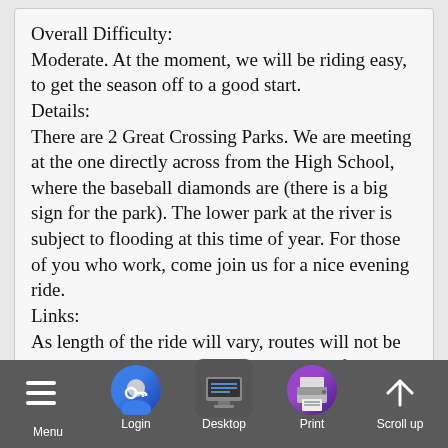Overall Difficulty:
Moderate. At the moment, we will be riding easy, to get the season off to a good start.
Details:
There are 2 Great Crossing Parks. We are meeting at the one directly across from the High School, where the baseball diamonds are (there is a big sign for the park). The lower park at the river is subject to flooding at this time of year. For those of you who work, come join us for a nice evening ride.
Links:
As length of the ride will vary, routes will not be posted yet but check Facebook the day of the ride.
[Figure (screenshot): Mobile app toolbar with Menu, Login, Desktop, Print, and Scroll up buttons on a dark grey background]